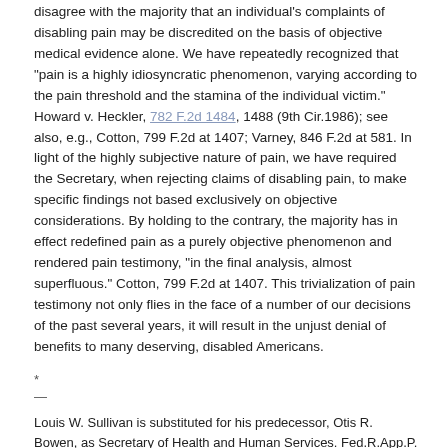disagree with the majority that an individual's complaints of disabling pain may be discredited on the basis of objective medical evidence alone. We have repeatedly recognized that "pain is a highly idiosyncratic phenomenon, varying according to the pain threshold and the stamina of the individual victim." Howard v. Heckler, 782 F.2d 1484, 1488 (9th Cir.1986); see also, e.g., Cotton, 799 F.2d at 1407; Varney, 846 F.2d at 581. In light of the highly subjective nature of pain, we have required the Secretary, when rejecting claims of disabling pain, to make specific findings not based exclusively on objective considerations. By holding to the contrary, the majority has in effect redefined pain as a purely objective phenomenon and rendered pain testimony, "in the final analysis, almost superfluous." Cotton, 799 F.2d at 1407. This trivialization of pain testimony not only flies in the face of a number of our decisions of the past several years, it will result in the unjust denial of benefits to many deserving, disabled Americans.
*
—
Louis W. Sullivan is substituted for his predecessor, Otis R. Bowen, as Secretary of Health and Human Services. Fed.R.App.P. 43(c)(1)
**